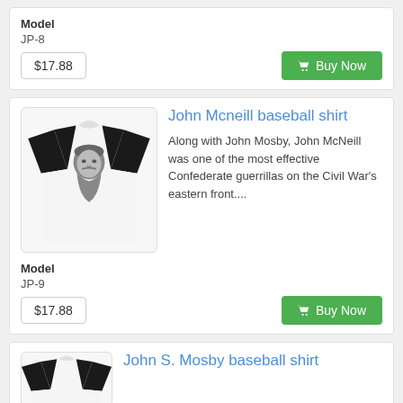Model
JP-8
$17.88
Buy Now
John Mcneill baseball shirt
Along with John Mosby, John McNeill was one of the most effective Confederate guerrillas on the Civil War's eastern front....
[Figure (photo): Baseball shirt with black sleeves and white body featuring a bearded man's portrait printed on the front]
Model
JP-9
$17.88
Buy Now
John S. Mosby baseball shirt